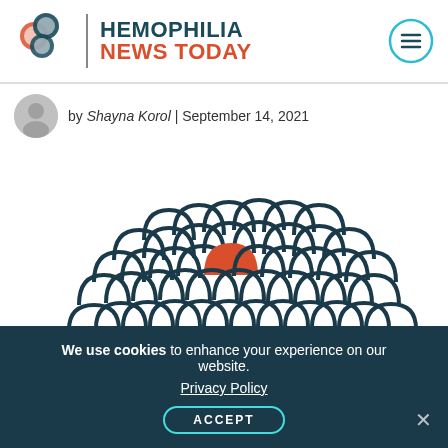HEMOPHILIA NEWS TODAY
by Shayna Korol | September 14, 2021
[Figure (illustration): Illustration of a large crowd of abstract figures (arched outlines) mostly in dark teal/white, with one red figure highlighted near the left-center, representing being unique or standing out among many.]
We use cookies to enhance your experience on our website.
Privacy Policy
ACCEPT